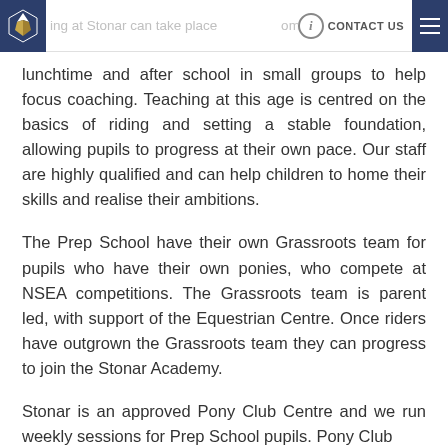Riding at Stonar can take place from the youngest years. We offer Prep School pupils riding lessons during | CONTACT US
lunchtime and after school in small groups to help focus coaching. Teaching at this age is centred on the basics of riding and setting a stable foundation, allowing pupils to progress at their own pace. Our staff are highly qualified and can help children to home their skills and realise their ambitions.
The Prep School have their own Grassroots team for pupils who have their own ponies, who compete at NSEA competitions. The Grassroots team is parent led, with support of the Equestrian Centre. Once riders have outgrown the Grassroots team they can progress to join the Stonar Academy.
Stonar is an approved Pony Club Centre and we run weekly sessions for Prep School pupils. Pony Club